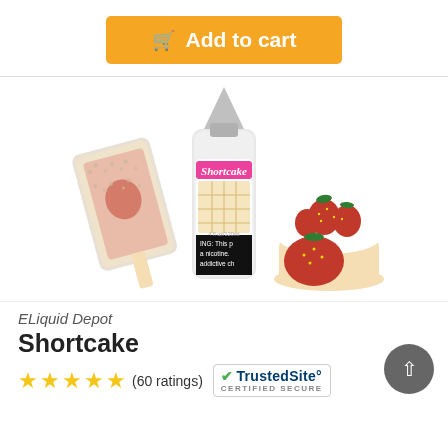[Figure (other): Orange 'Add to cart' button with shopping cart icon at top of page]
[Figure (photo): Product photo of ELiquid Depot Shortcake e-liquid bottle (120ml) surrounded by strawberry shortcake desserts and a strawberry ice cream bar with warning text on the black label]
ELiquid Depot
Shortcake
★★★★★ (60 ratings)
[Figure (logo): TrustedSite CERTIFIED SECURE badge]